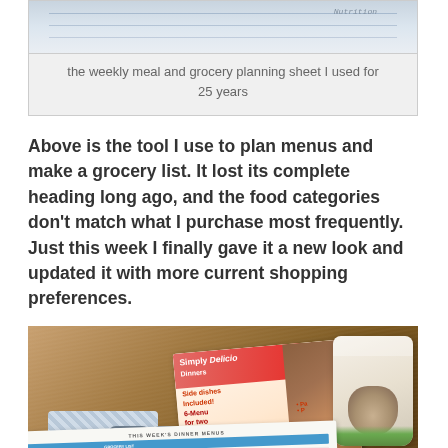[Figure (photo): Top portion of a weekly meal and grocery planning sheet photographed from above, showing ruled lines on a light blue-white paper background]
the weekly meal and grocery planning sheet I used for 25 years
Above is the tool I use to plan menus and make a grocery list. It lost its complete heading long ago, and the food categories don't match what I purchase most frequently. Just this week I finally gave it a new look and updated it with more current shopping preferences.
[Figure (photo): A wooden table surface with a meal planning sheet filled out in pen, a cookbook titled 'Simply Delicious Dinners', reading glasses on a plaid case, and a decorative mug with a bird motif]